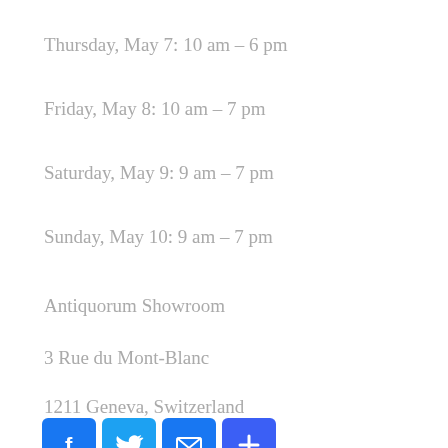Thursday, May 7:  10 am – 6 pm
Friday, May 8:  10 am – 7 pm
Saturday, May 9:  9 am – 7 pm
Sunday, May 10:  9 am – 7 pm
Antiquorum Showroom
3 Rue du Mont-Blanc
1211 Geneva, Switzerland
[Figure (infographic): Four social media / share icons: Facebook (blue square with f), Twitter (light blue square with bird), Email (blue square with envelope), Share/AddThis (blue square with plus sign)]